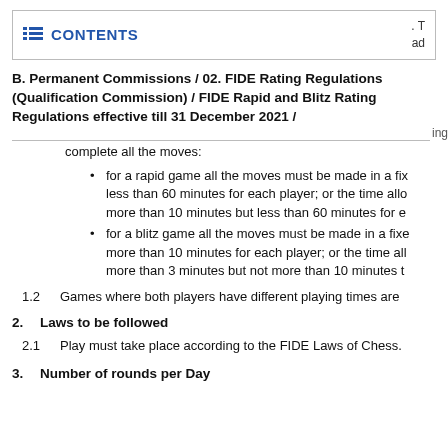CONTENTS . T ad
B. Permanent Commissions / 02. FIDE Rating Regulations (Qualification Commission) / FIDE Rapid and Blitz Rating Regulations effective till 31 December 2021 /
complete all the moves:
for a rapid game all the moves must be made in a fix less than 60 minutes for each player; or the time allo more than 10 minutes but less than 60 minutes for e
for a blitz game all the moves must be made in a fixe more than 10 minutes for each player; or the time all more than 3 minutes but not more than 10 minutes t
1.2    Games where both players have different playing times are
2.    Laws to be followed
2.1    Play must take place according to the FIDE Laws of Chess.
3.    Number of rounds per Day